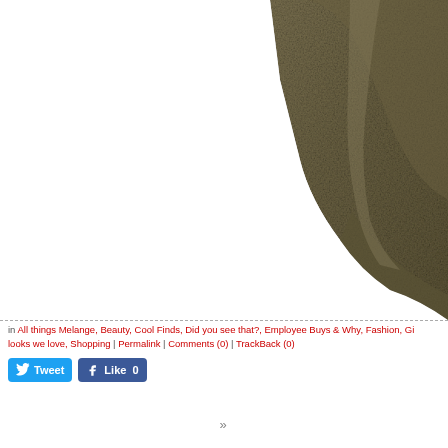[Figure (photo): Close-up photo of olive/khaki colored fabric garment (appears to be a skirt or draped clothing item), shown against white background. The fabric occupies the upper right portion of the image.]
in All things Melange, Beauty, Cool Finds, Did you see that?, Employee Buys & Why, Fashion, Gi... looks we love, Shopping | Permalink | Comments (0) | TrackBack (0)